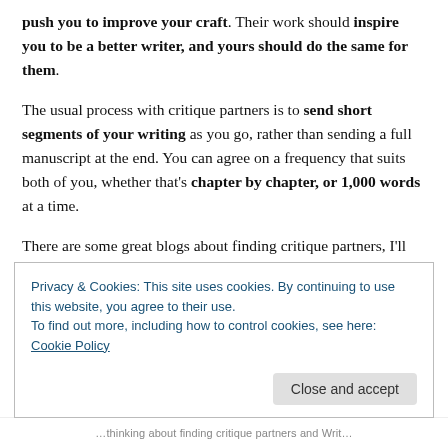push you to improve your craft. Their work should inspire you to be a better writer, and yours should do the same for them.
The usual process with critique partners is to send short segments of your writing as you go, rather than sending a full manuscript at the end. You can agree on a frequency that suits both of you, whether that's chapter by chapter, or 1,000 words at a time.
There are some great blogs about finding critique partners, I'll leave a few links below rather than go into
Privacy & Cookies: This site uses cookies. By continuing to use this website, you agree to their use.
To find out more, including how to control cookies, see here: Cookie Policy
Close and accept
…thinking about finding critique partners and Writ…